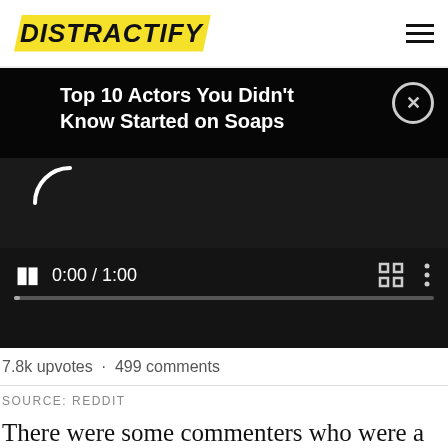DISTRACTIFY
[Figure (screenshot): Video player with dark background showing loading spinner, title 'Top 10 Actors You Didn't Know Started on Soaps', close button, pause button, time display '0:00 / 1:00', fullscreen icon, more options icon, and progress bar.]
7.8k upvotes · 499 comments
SOURCE: REDDIT
There were some commenters who were a little freaked out at the possibilities during this time, while some